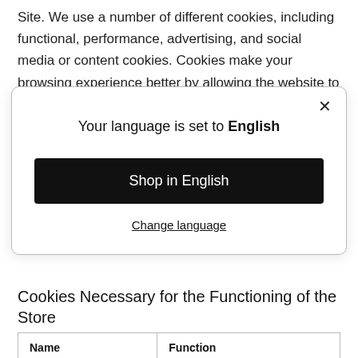Site. We use a number of different cookies, including functional, performance, advertising, and social media or content cookies. Cookies make your browsing experience better by allowing the website to remember your actions
[Figure (screenshot): Modal dialog with close button (X), title 'Your language is set to English', a black 'Shop in English' button, and an underlined 'Change language' link.]
Cookies Necessary for the Functioning of the Store
| Name | Function |
| --- | --- |